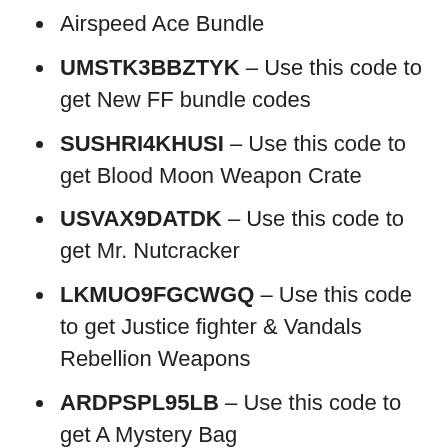Airspeed Ace Bundle
UMSTK3BBZTYK – Use this code to get New FF bundle codes
SUSHRI4KHUSI – Use this code to get Blood Moon Weapon Crate
USVAX9DATDK – Use this code to get Mr. Nutcracker
LKMUO9FGCWGQ – Use this code to get Justice fighter & Vandals Rebellion Weapons
ARDPSPL95LB – Use this code to get A Mystery Bag
GYXKT8UFBBSF – Use this code to get Phantom Bear Bundle
MEMTMEMKFEA – Use this code to get...